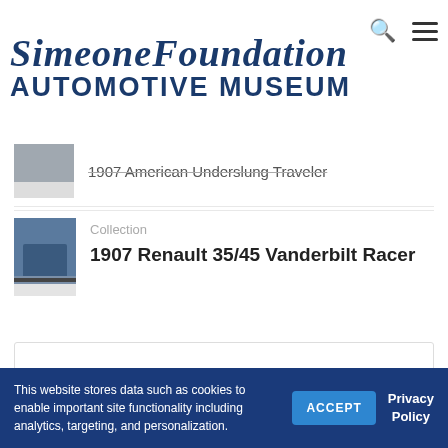Simeone Foundation Automotive Museum
1907 American Underslung Traveler
Collection
1907 Renault 35/45 Vanderbilt Racer
Previous
1966 Ford GT40 MKII
This website stores data such as cookies to enable important site functionality including analytics, targeting, and personalization.